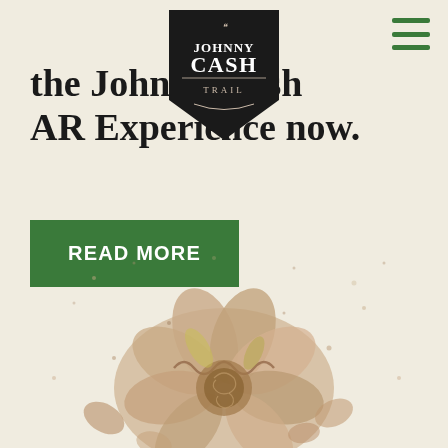[Figure (logo): Johnny Cash Trail logo — black pentagon/shield badge with white text reading 'JOHNNY CASH TRAIL' with decorative swashes]
[Figure (other): Hamburger menu icon — three horizontal green lines in top right corner]
the Johnny Cash AR Experience now.
[Figure (photo): Decorative floral/cookie arrangement photo with scattered pieces on cream background, partially cropped at bottom of page]